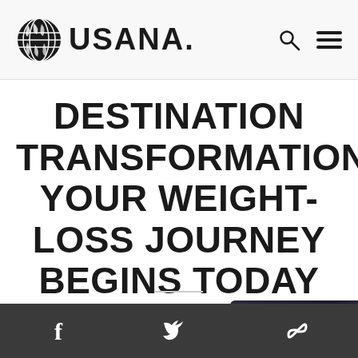[Figure (logo): USANA logo with globe icon and USANA. wordmark, plus search and hamburger menu icons]
DESTINATION TRANSFORMATION: YOUR WEIGHT-LOSS JOURNEY BEGINS TODAY
[Figure (photo): Partial image visible at bottom right, dark colored object]
Facebook, Twitter, and link social media icons